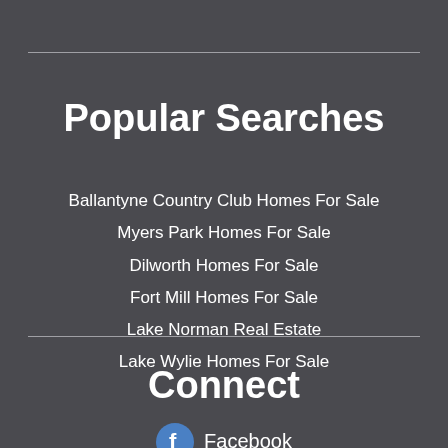Popular Searches
Ballantyne Country Club Homes For Sale
Myers Park Homes For Sale
Dilworth Homes For Sale
Fort Mill Homes For Sale
Lake Norman Real Estate
Lake Wylie Homes For Sale
Connect
Facebook